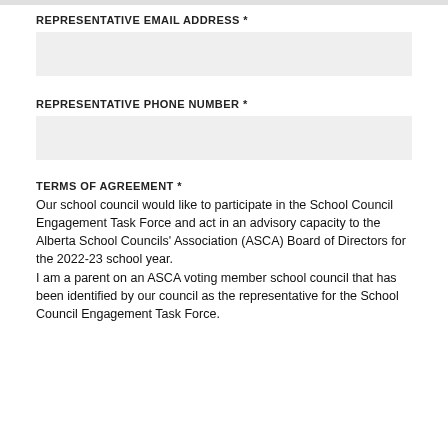REPRESENTATIVE EMAIL ADDRESS *
REPRESENTATIVE PHONE NUMBER *
TERMS OF AGREEMENT *
Our school council would like to participate in the School Council Engagement Task Force and act in an advisory capacity to the Alberta School Councils' Association (ASCA) Board of Directors for the 2022-23 school year.
I am a parent on an ASCA voting member school council that has been identified by our council as the representative for the School Council Engagement Task Force.